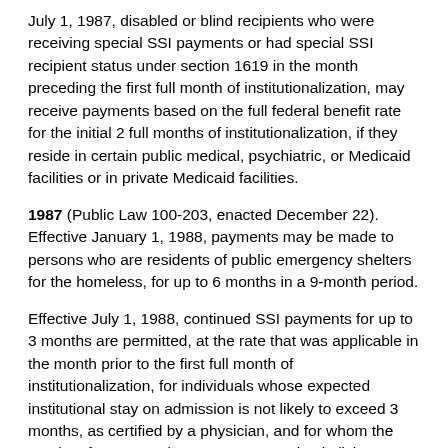July 1, 1987, disabled or blind recipients who were receiving special SSI payments or had special SSI recipient status under section 1619 in the month preceding the first full month of institutionalization, may receive payments based on the full federal benefit rate for the initial 2 full months of institutionalization, if they reside in certain public medical, psychiatric, or Medicaid facilities or in private Medicaid facilities.
1987 (Public Law 100-203, enacted December 22). Effective January 1, 1988, payments may be made to persons who are residents of public emergency shelters for the homeless, for up to 6 months in a 9-month period.
Effective July 1, 1988, continued SSI payments for up to 3 months are permitted, at the rate that was applicable in the month prior to the first full month of institutionalization, for individuals whose expected institutional stay on admission is not likely to exceed 3 months, as certified by a physician, and for whom the receipt of payments is necessary to maintain living arrangements to which they may return.
1996 (Public Law 104-193, enacted August 22). Effective December 1996, institutionalized children under age 18 whose